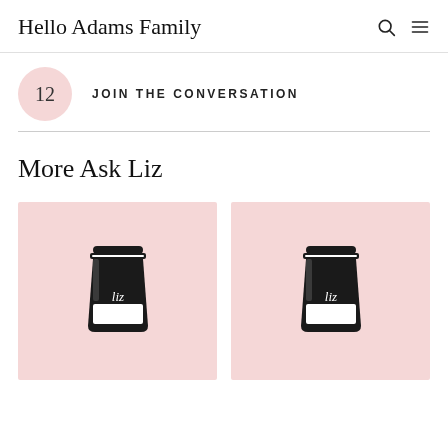Hello Adams Family
12   JOIN THE CONVERSATION
More Ask Liz
[Figure (illustration): Pink background card with a black coffee cup illustration with 'liz' written in script on the cup]
[Figure (illustration): Pink background card with a black coffee cup illustration with 'liz' written in script on the cup]